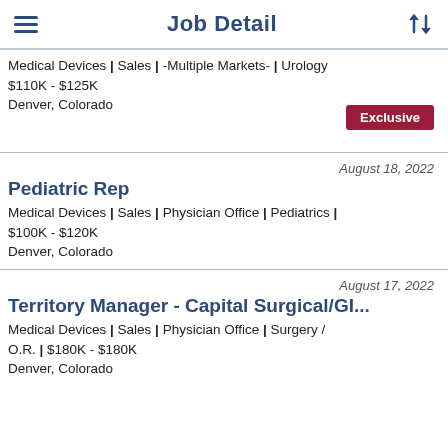Job Detail
Medical Devices | Sales | -Multiple Markets- | Urology | $110K - $125K
Denver, Colorado
Exclusive
August 18, 2022
Pediatric Rep
Medical Devices | Sales | Physician Office | Pediatrics | $100K - $120K
Denver, Colorado
August 17, 2022
Territory Manager - Capital Surgical/GI...
Medical Devices | Sales | Physician Office | Surgery / O.R. | $180K - $180K
Denver, Colorado